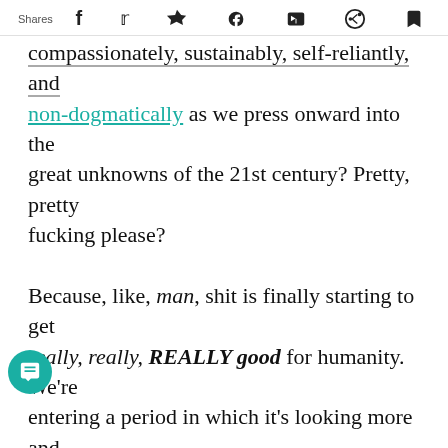Shares [facebook] [twitter] [like] [pocket] [reddit] [crown]
compassionately, sustainably, self-reliantly, and non-dogmatically as we press onward into the great unknowns of the 21st century? Pretty, pretty fucking please?

Because, like, man, shit is finally starting to get really, really, REALLY good for humanity. We're entering a period in which it's looking more and more likely that we'll find a way to meet every human's basic needs, massively reduce animal suffering, and allow all of us to live like demigods. We're bearing witness to some of the most [b]ndary magic tricks our species has ever pulled off. I so, so do not want to see us fuck up all this